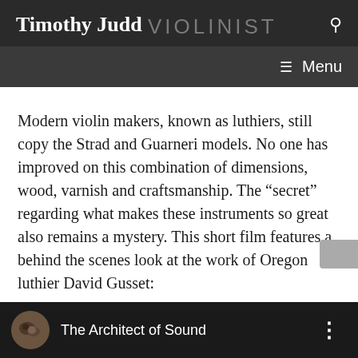Timothy Judd VIOLINIST
Modern violin makers, known as luthiers, still copy the Strad and Guarneri models. No one has improved on this combination of dimensions, wood, varnish and craftsmanship. The “secret” regarding what makes these instruments so great also remains a mystery. This short film features a behind the scenes look at the work of Oregon luthier David Gusset:
[Figure (screenshot): Video player bar showing thumbnail and title 'The Architect of Sound' on a dark background]